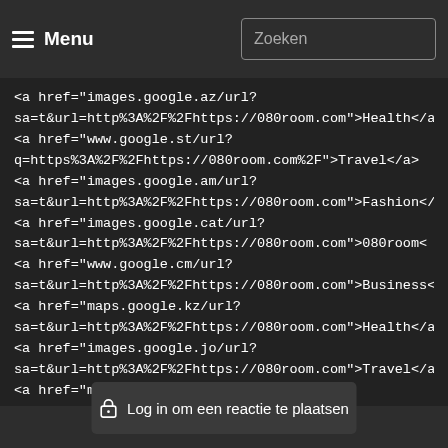Menu | Zoeken
<a href="images.google.az/url?sa=t&url=http%3A%2F%2Fhttps://080room.com">Health</a>
<a href="www.google.st/url?q=https%3A%2F%2Fhttps://080room.com%2F">Travel</a>
<a href="images.google.am/url?sa=t&url=http%3A%2F%2Fhttps://080room.com">Fashion</a>
<a href="images.google.cat/url?sa=t&url=http%3A%2F%2Fhttps://080room.com">080room</a>
<a href="www.google.cm/url?sa=t&url=http%3A%2F%2Fhttps://080room.com">Business</a>
<a href="maps.google.kz/url?sa=t&url=http%3A%2F%2Fhttps://080room.com">Health</a>
<a href="images.google.jo/url?sa=t&url=http%3A%2F%2Fhttps://080room.com">Travel</a>
<a href="maps.google.ge/url?sa=t&url=http%3A%2F%2Fhttps://080room.com">Fashion</a>
<a href="www.google.mg/url?sa=t&url=http%3A%2F%2Fhttps://080room.com">080room</a>
<a href="maps.google.la/url?sa=t&url=http%3A%2F%2Fhttps://080room.com">Business</a>
<a href="images.google.rw/url?
Log in om een reactie te plaatsen